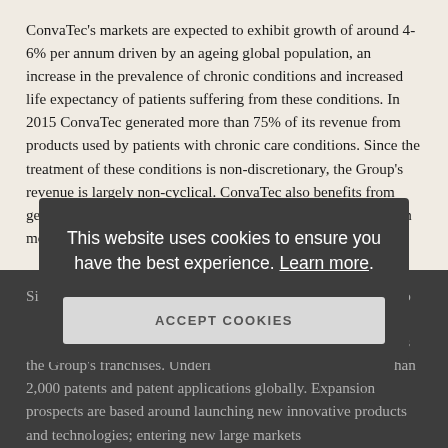ConvaTec's markets are expected to exhibit growth of around 4-6% per annum driven by an ageing global population, an increase in the prevalence of chronic conditions and increased life expectancy of patients suffering from these conditions. In 2015 ConvaTec generated more than 75% of its revenue from products used by patients with chronic care conditions. Since the treatment of these conditions is non-discretionary, the Group's revenue is largely non-cyclical. ConvaTec also benefits from geographic diversification in its business, selling its products in more than 100 countries globally.
Since it was founded, ConvaTec has developed a track record of consistent outperformance and today has a growing product pipeline and R&D competencies which drive innovation across the Group's franchises. Underpinned by approximately more than 2,000 patents and patent applications globally. Expansion prospects are based around launching new innovative products and technologies; entering new large markets
This website uses cookies to ensure you have the best experience. Learn more.
ACCEPT COOKIES